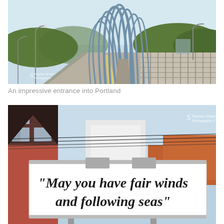[Figure (photo): A bridge road entrance into Portland with large sculptural steel arch elements rising above the roadway, green wooded hills in the background, blue sky, concrete barriers on the sides.]
An impressive entrance into Portland
[Figure (photo): A billboard in Portland reading 'May you have fair winds and following seas' in large italic serif font, with brick buildings and utility lines in the background.]